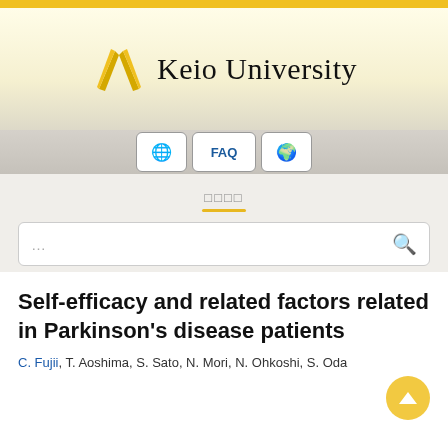[Figure (logo): Keio University logo with crossed pen/quill icon in gold and university name in serif font]
FAQ
□□□□
Self-efficacy and related factors related in Parkinson's disease patients
C. Fujii, T. Aoshima, S. Sato, N. Mori, N. Ohkoshi, S. Oda